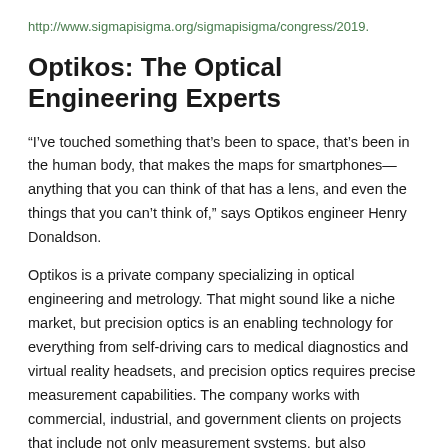http://www.sigmapisigma.org/sigmapisigma/congress/2019.
Optikos: The Optical Engineering Experts
“I’ve touched something that’s been to space, that’s been in the human body, that makes the maps for smartphones—anything that you can think of that has a lens, and even the things that you can’t think of,” says Optikos engineer Henry Donaldson.
Optikos is a private company specializing in optical engineering and metrology. That might sound like a niche market, but precision optics is an enabling technology for everything from self-driving cars to medical diagnostics and virtual reality headsets, and precision optics requires precise measurement capabilities. The company works with commercial, industrial, and government clients on projects that include not only measurement systems, but also